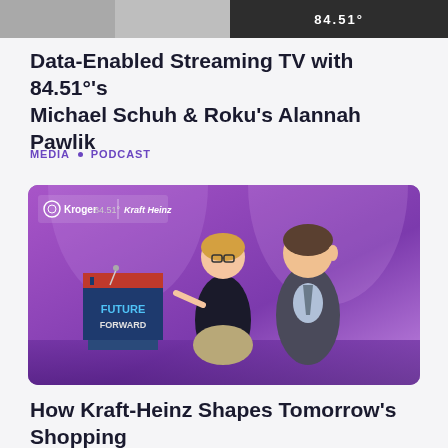[Figure (photo): Two cropped thumbnail images at top of page: left is a gray/blurred image, right is a dark image with '84.51°' text visible]
Data-Enabled Streaming TV with 84.51°'s Michael Schuh & Roku's Alannah Pawlik
MEDIA • PODCAST
[Figure (photo): Photo of two people standing on a stage at a Kroger 84.51° and Kraft Heinz branded event. A woman with glasses and a man in a suit stand in front of a podium. A sign reads 'FUTURE FORWARD' at the bottom.]
How Kraft-Heinz Shapes Tomorrow's Shopping